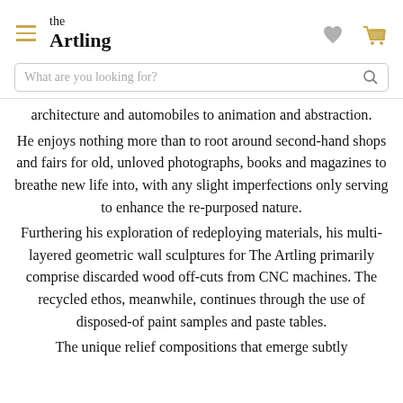the Artling
architecture and automobiles to animation and abstraction.
He enjoys nothing more than to root around second-hand shops and fairs for old, unloved photographs, books and magazines to breathe new life into, with any slight imperfections only serving to enhance the re-purposed nature.
Furthering his exploration of redeploying materials, his multi-layered geometric wall sculptures for The Artling primarily comprise discarded wood off-cuts from CNC machines. The recycled ethos, meanwhile, continues through the use of disposed-of paint samples and paste tables.
The unique relief compositions that emerge subtly